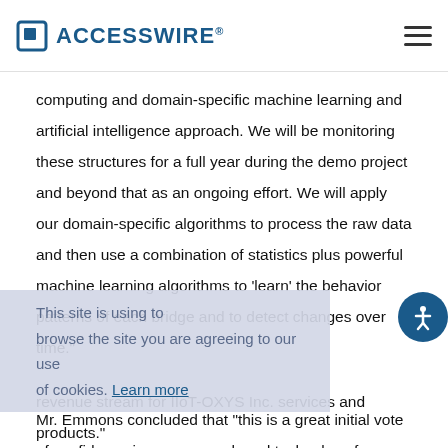ACCESSWIRE
computing and domain-specific machine learning and artificial intelligence approach. We will be monitoring these structures for a full year during the demo project and beyond that as an ongoing effort. We will apply our domain-specific algorithms to process the raw data and then use a combination of statistics plus powerful machine learning algorithms to 'learn' the behavior patterns of each bridge and to detect changes over time."
Mr. Emmons concluded that "this is a great initial vote of confidence in our approach and technology from a key customer. We are working closely with the end customer as well as partners to extend and expand these initial efforts and to create a sustainable, recurring revenue stream for IIoT-OXYS Inc. services and products."